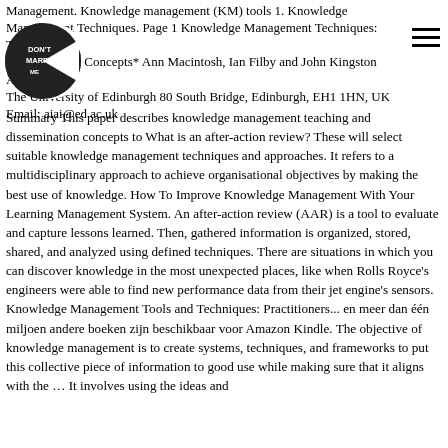Management. Knowledge management (KM) tools 1. Knowledge Management Techniques. Page 1 Knowledge Management Techniques: Teaching & Dissemination Concepts* Ann Macintosh, Ian Filby and John Kingston AIAI, The University of Edinburgh 80 South Bridge, Edinburgh, EH1 1HN, UK Email: aiai@ed.ac.uk
[Figure (logo): Circular dark logo with text 'DON'T MARRY ME' in white]
Summary This paper describes knowledge management teaching and dissemination concepts to What is an after-action review? These will select suitable knowledge management techniques and approaches. It refers to a multidisciplinary approach to achieve organisational objectives by making the best use of knowledge. How To Improve Knowledge Management With Your Learning Management System. An after-action review (AAR) is a tool to evaluate and capture lessons learned. Then, gathered information is organized, stored, shared, and analyzed using defined techniques. There are situations in which you can discover knowledge in the most unexpected places, like when Rolls Royce's engineers were able to find new performance data from their jet engine's sensors. Knowledge Management Tools and Techniques: Practitioners... en meer dan één miljoen andere boeken zijn beschikbaar voor Amazon Kindle. The objective of knowledge management is to create systems, techniques, and frameworks to put this collective piece of information to good use while making sure that it aligns with the … It involves using the ideas and